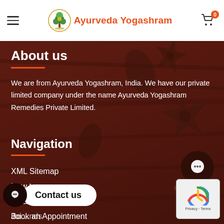Ayurveda Yogashram
About us
We are from Ayurveda Yogashram, India. We have our private limited company under the name Ayurveda Yogashram Remedies Private Limited.
Navigation
XML Sitemap
New to us
Smart Home
Join…nds
Contact us
Book an Appointment